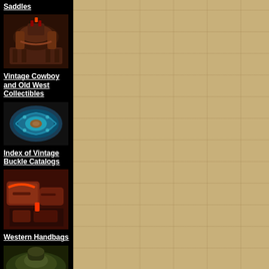Saddles
[Figure (photo): Vintage western saddle on display stand]
Vintage Cowboy and Old West Collectibles
[Figure (photo): Decorative oval belt buckle with turquoise and Southwest design]
Index of Vintage Buckle Catalogs
[Figure (photo): Western handbags and leather accessories spread out]
Western Handbags
[Figure (photo): Partial view of western item at bottom of page]